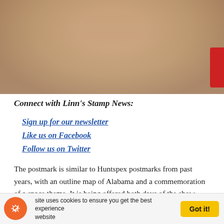[Figure (photo): Close-up photo of a hand or skin, blurred background, partial view at top of page]
Connect with Linn's Stamp News:
Sign up for our newsletter
Like us on Facebook
Follow us on Twitter
The postmark is similar to Huntspex postmarks from past years, with an outline map of Alabama and a commemoration of a space theme. It is being offered both days of the show.
The first components of the international space station were launched into orbit in 1998. It was occupied a little more than two years later and serves as an international
site uses cookies to ensure you get the best experience website